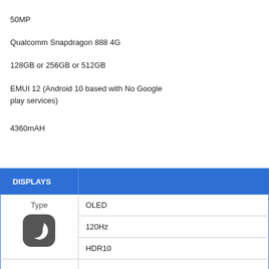50MP
Qualcomm Snapdragon 888 4G
128GB or 256GB or 512GB
EMUI 12 (Android 10 based with No Google play services)
4360mAH
| DISPLAYS |  |
| --- | --- |
| Type [moon icon] | OLED |
|  | 120Hz |
|  | HDR10 |
|  |  |